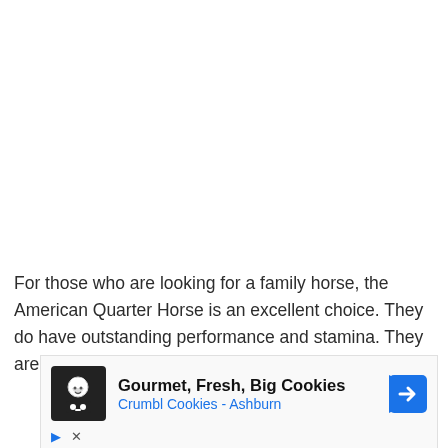For those who are looking for a family horse, the American Quarter Horse is an excellent choice. They do have outstanding performance and stamina. They are not
[Figure (screenshot): Advertisement banner for Crumbl Cookies - Ashburn with logo, text 'Gourmet, Fresh, Big Cookies' and 'Crumbl Cookies - Ashburn', navigation arrow icon, and play/close controls.]